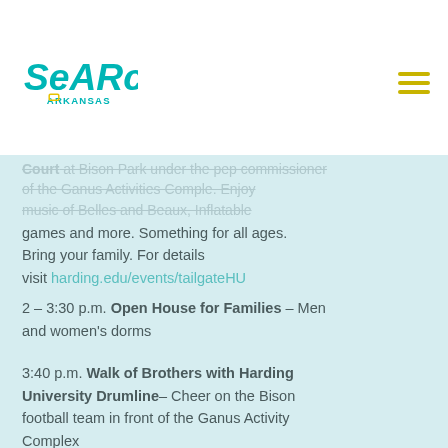Searcy Arkansas logo and navigation
Court at Bison Park under the pep commissioner of the Ganus Activities Comple. Enjoy music of Belles and Beaux, Inflatable games and more. Something for all ages. Bring your family. For details visit harding.edu/events/tailgateHU
2 – 3:30 p.m. Open House for Families – Men and women's dorms
3:40 p.m. Walk of Brothers with Harding University Drumline– Cheer on the Bison football team in front of the Ganus Activity Complex
5:30 Thundering Herd Marching Band Tailgate Performance, Bison Park
6 p.m. –Bison Football vs. Quachita